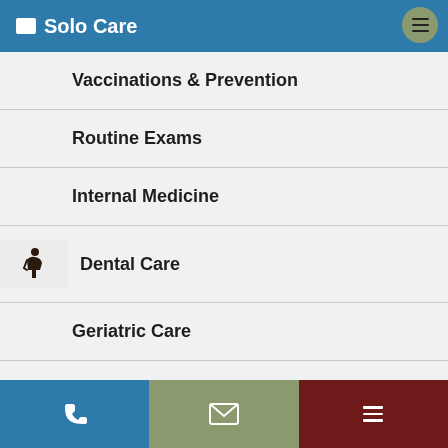Solo Care
Vaccinations & Prevention
Routine Exams
Internal Medicine
Dental Care
Geriatric Care
Puppies & Kittens
Phone | Email | Menu